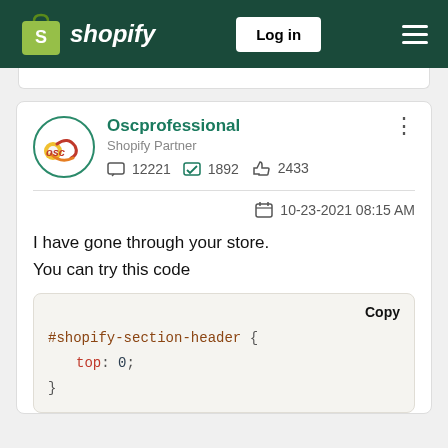shopify — Log in
Oscprofessional
Shopify Partner
💬 12221  ✔ 1892  👍 2433
10-23-2021 08:15 AM
I have gone through your store.
You can try this code
#shopify-section-header {
    top: 0;
}